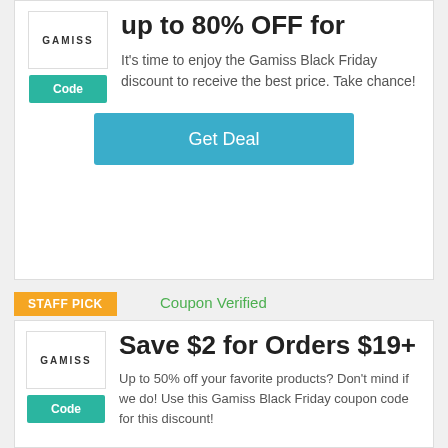up to 80% OFF for
It's time to enjoy the Gamiss Black Friday discount to receive the best price. Take chance!
Get Deal
STAFF PICK
Coupon Verified
Save $2 for Orders $19+
Up to 50% off your favorite products? Don't mind if we do! Use this Gamiss Black Friday coupon code for this discount!